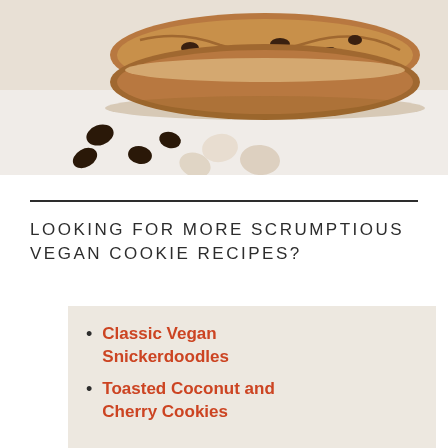[Figure (photo): Stacked chocolate chip cookies with chocolate chips and white chips scattered on a white surface, close-up shot]
LOOKING FOR MORE SCRUMPTIOUS VEGAN COOKIE RECIPES?
Classic Vegan Snickerdoodles
Toasted Coconut and Cherry Cookies